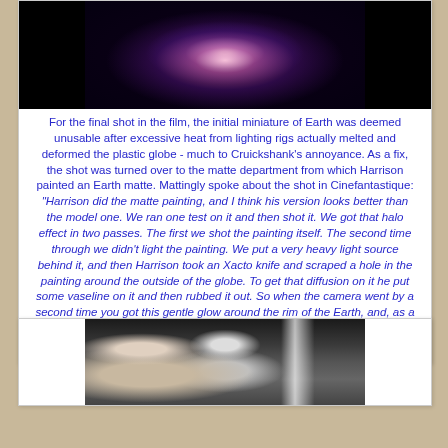[Figure (photo): Dark space scene showing a glowing Earth or celestial body with a bright halo/light corona effect against a black starfield background]
For the final shot in the film, the initial miniature of Earth was deemed unusable after excessive heat from lighting rigs actually melted and deformed the plastic globe - much to Cruickshank's annoyance.  As a fix, the shot was turned over to the matte department from which Harrison painted an Earth matte.  Mattingly spoke about the shot in Cinefantastique:  "Harrison did the matte painting, and I think his version looks better than the model one.  We ran one test on it and then shot it.  We got that halo effect in two passes.  The first we shot the painting itself.  The second time through we didn't light the painting.  We put a very heavy light source behind it, and then Harrison took an Xacto knife and scraped a hole in the painting around the outside of the globe.  To get that diffusion on it he put some vaseline on it and then rubbed it out.  So when the camera went by a second time you got this gentle glow around the rim of the Earth, and, as a plus, all these rays of light shooting out from it.  It was really quite effective, considering how simple it was."
[Figure (photo): Black and white photograph of several men in formal attire (tuxedos) at what appears to be a formal event or premiere]